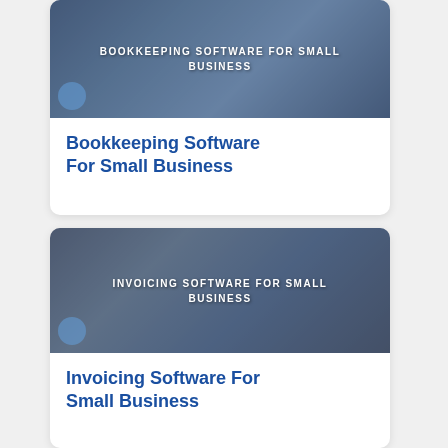[Figure (photo): Photo of bookkeeping/accounting scene with text overlay reading BOOKKEEPING SOFTWARE FOR SMALL BUSINESS]
Bookkeeping Software For Small Business
[Figure (photo): Photo of tablet/invoicing scene with text overlay reading INVOICING SOFTWARE FOR SMALL BUSINESS]
Invoicing Software For Small Business